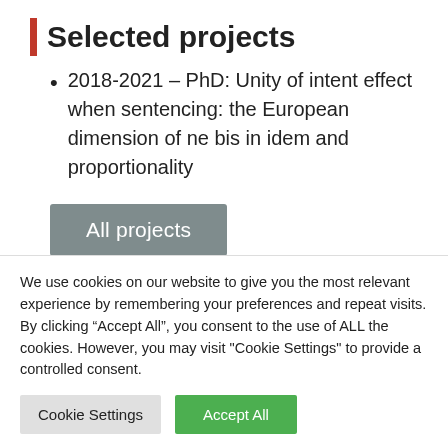Selected projects
2018-2021 – PhD: Unity of intent effect when sentencing: the European dimension of ne bis in idem and proportionality
All projects
Publications
We use cookies on our website to give you the most relevant experience by remembering your preferences and repeat visits. By clicking “Accept All”, you consent to the use of ALL the cookies. However, you may visit "Cookie Settings" to provide a controlled consent.
Cookie Settings    Accept All